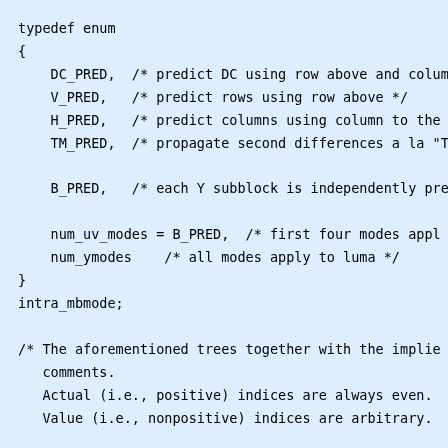typedef enum
{
    DC_PRED,  /* predict DC using row above and column left */
    V_PRED,   /* predict rows using row above */
    H_PRED,   /* predict columns using column to the left */
    TM_PRED,  /* propagate second differences a la "T"

    B_PRED,   /* each Y subblock is independently predicted

    num_uv_modes = B_PRED,  /* first four modes apply to chroma */
    num_ymodes    /* all modes apply to luma */
}
intra_mbmode;

/* The aforementioned trees together with the implied
   comments.
   Actual (i.e., positive) indices are always even.
   Value (i.e., nonpositive) indices are arbitrary.

const tree_index ymode_tree [2 * (num_ymodes - 1)] =